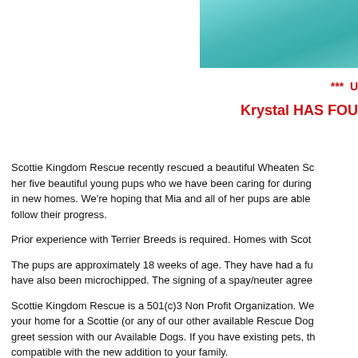[Figure (photo): Partial photo with teal/turquoise background, cropped, upper right corner of page]
*** U
Krystal HAS FOU
Scottie Kingdom Rescue recently rescued a beautiful Wheaten Sc her five beautiful young pups who we have been caring for during in new homes. We're hoping that Mia and all of her pups are able follow their progress.
Prior experience with Terrier Breeds is required. Homes with Scot
The pups are approximately 18 weeks of age. They have had a fu have also been microchipped. The signing of a spay/neuter agree
Scottie Kingdom Rescue is a 501(c)3 Non Profit Organization. We your home for a Scottie (or any of our other available Rescue Dog greet session with our Available Dogs. If you have existing pets, th compatible with the new addition to your family.
Please contact us at Rescue@scottiekingdom.com to request an . Also, please take the time to visit our website www.scottiekingdon
Thank you for considering Adoption!